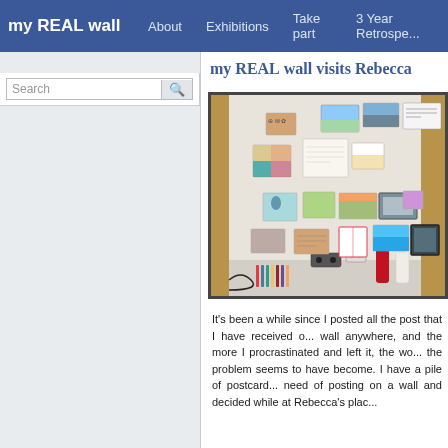my REAL wall | About | Exhibitions | Take part | 3 Year Retrospe...
my REAL wall visits Rebecca
Search
[Figure (photo): A photograph of a wall covered in postcards, prints, drawings and pictures, with a desk and art supplies visible at the bottom.]
It's been a while since I posted all the post that I have received o... wall anywhere, and the more I procrastinated and left it, the wo... the problem seems to have become. I have a pile of postcard... need of posting on a wall and decided while at Rebecca's plac...